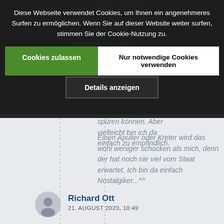[Figure (screenshot): Cookie consent banner overlay on a German news/blog website. The dark overlay contains: cookie notice text in German, a green 'Cookies zulassen' button, a white 'Nur notwendige Cookies verwenden' button, and a dark 'Details anzeigen' button. Behind the banner, italic article text is partially visible. Below the banner, a comment section shows italic body text and a commenter 'Richard Ott' with date '21. AUGUST 2020, 10:49'.]